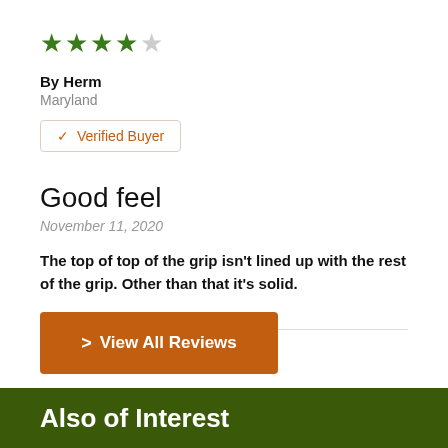[Figure (other): 4 out of 5 star rating shown as green filled stars with one empty star]
By Herm
Maryland
✔ Verified Buyer
Good feel
November 11, 2020
The top of top of the grip isn't lined up with the rest of the grip. Other than that it's solid.
> View All Reviews
Also of Interest